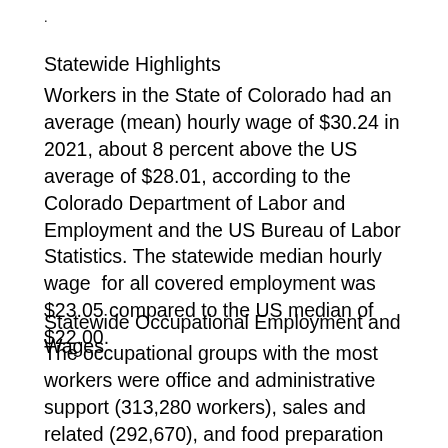.
Statewide Highlights
Workers in the State of Colorado had an average (mean) hourly wage of $30.24 in 2021, about 8 percent above the US average of $28.01, according to the Colorado Department of Labor and Employment and the US Bureau of Labor Statistics. The statewide median hourly wage  for all covered employment was $23.05 compared to the US median of $22.00.
Statewide Occupational Employment and Wages
The occupational groups with the most workers were office and administrative support (313,280 workers), sales and related (292,670), and food preparation and serving related occupations (223,030). These three groups accounted for